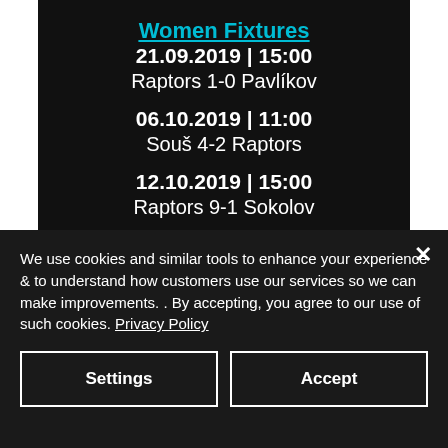Women Fixtures
21.09.2019 | 15:00
Raptors 1-0 Pavlíkov
06.10.2019 | 11:00
Souš 4-2 Raptors
12.10.2019 | 15:00
Raptors 9-1 Sokolov
We use cookies and similar tools to enhance your experience & to understand how customers use our services so we can make improvements. . By accepting, you agree to our use of such cookies. Privacy Policy
Settings
Accept